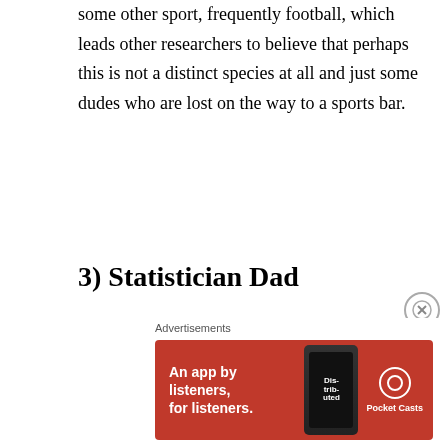some other sport, frequently football, which leads other researchers to believe that perhaps this is not a distinct species at all and just some dudes who are lost on the way to a sports bar.
3) Statistician Dad
Paternis pencilpocketus
The “Stat Dad” is frequently found perched somewhere above chlorinated bodies of water, quietly but intently observing every activity in the pool. This dad is most known for his detailed, multi-tabbed, color-coded spreadsheet showing his offspring’s relative rankings at
Advertisements
[Figure (other): Advertisement banner for Pocket Casts app: red background with text 'An app by listeners, for listeners.' and Pocket Casts logo, with a phone showing 'Distributed' on screen]